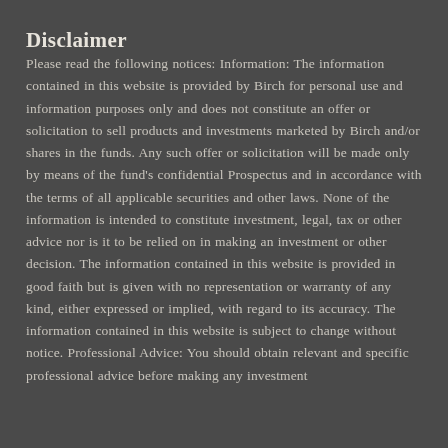Disclaimer
Please read the following notices: Information: The information contained in this website is provided by Birch for personal use and information purposes only and does not constitute an offer or solicitation to sell products and investments marketed by Birch and/or shares in the funds. Any such offer or solicitation will be made only by means of the fund's confidential Prospectus and in accordance with the terms of all applicable securities and other laws. None of the information is intended to constitute investment, legal, tax or other advice nor is it to be relied on in making an investment or other decision. The information contained in this website is provided in good faith but is given with no representation or warranty of any kind, either expressed or implied, with regard to its accuracy. The information contained in this website is subject to change without notice. Professional Advice: You should obtain relevant and specific professional advice before making any investment